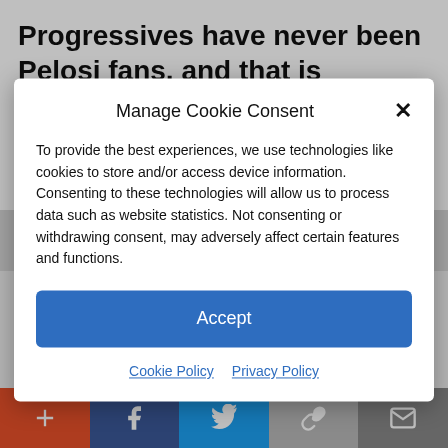Progressives have never been Pelosi fans, and that is unlikely to change even if there were to be a party switch in the
Manage Cookie Consent
To provide the best experiences, we use technologies like cookies to store and/or access device information. Consenting to these technologies will allow us to process data such as website statistics. Not consenting or withdrawing consent, may adversely affect certain features and functions.
Accept
Cookie Policy  Privacy Policy
be challenging if your base has not been pleased with the party's performance.